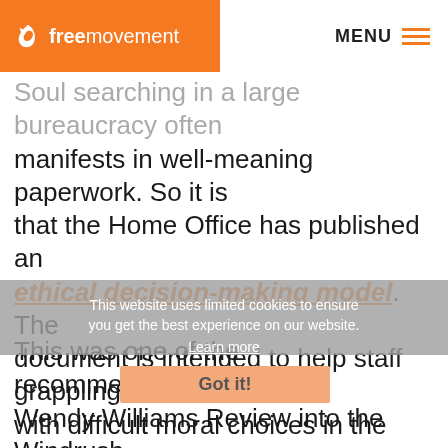freemovement | MENU
Soul searching in a large bureaucracy often manifests in well-meaning paperwork. So it is that the Home Office has published an ethical decision-making model. The document is intended to help staff grappling with difficult moral choices in the course of their work.
This website uses limited cookies to ensure you get the best experience on our website. Learn more
This was one of the recommendations of the Wendy Williams Review into the Windrush scandal, following which Priti Patel promised a kinder, gentler Home Office. Recommendation 17 of the Williams report